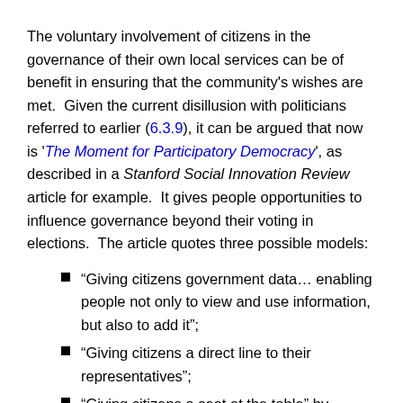The voluntary involvement of citizens in the governance of their own local services can be of benefit in ensuring that the community's wishes are met.  Given the current disillusion with politicians referred to earlier (6.3.9), it can be argued that now is 'The Moment for Participatory Democracy', as described in a Stanford Social Innovation Review article for example.  It gives people opportunities to influence governance beyond their voting in elections.  The article quotes three possible models:
“Giving citizens government data… enabling people not only to view and use information, but also to add it”;
“Giving citizens a direct line to their representatives”;
“Giving citizens a seat at the table” by “Participatory budgeting” or “the Citizens’ Jury method”.
Even within a system classified as authoritarian, it is possible to use participative democracy to enable citizens to influence